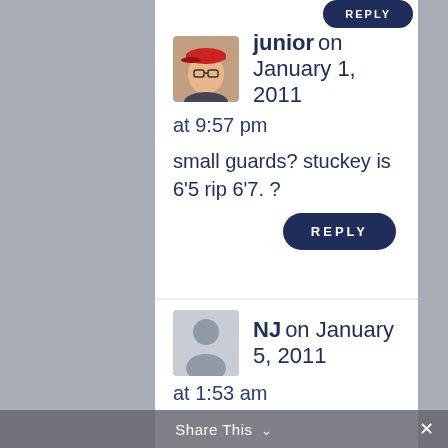junior on January 1, 2011 at 9:57 pm
small guards? stuckey is 6'5 rip 6'7. ?
REPLY
NJ on January 5, 2011 at 1:53 am
Gordon and Bynum aren't and stuckey just sucks with no PG IQ and
Share This